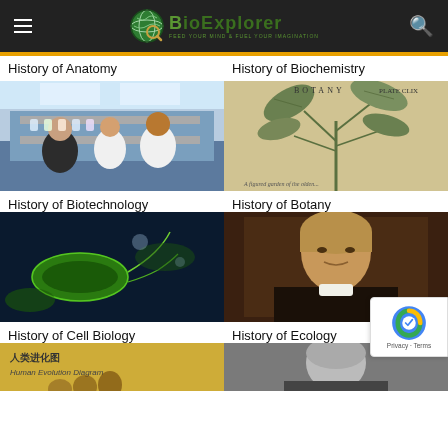BioExplorer — FEED YOUR MIND & FUEL YOUR IMAGINATION
History of Anatomy
History of Biochemistry
[Figure (photo): Scientists in a laboratory looking at samples in flasks and test tubes under bright lighting]
History of Biotechnology
[Figure (photo): Vintage botanical illustration of a plant with large green leaves, labeled BOTANY]
History of Botany
[Figure (photo): Digital illustration of green bacteria/microbes with flagella on a dark blue background]
History of Cell Biology
[Figure (photo): Classical portrait painting of an older man in a dark coat with white cravat]
History of Ecology
[Figure (photo): Yellow-toned chart showing Human Evolution Diagram with Chinese characters 人类进化图]
[Figure (photo): Black and white portrait photograph of a historical figure]